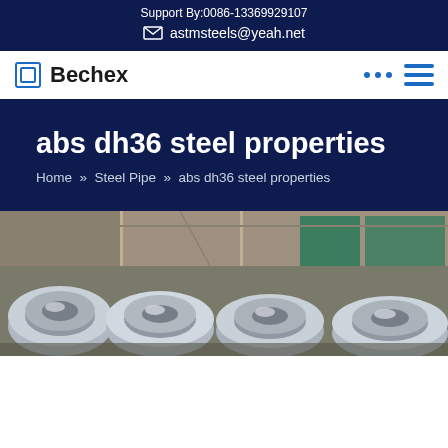Support By:0086-13369929107
astmsteels@yeah.net
Bechex
abs dh36 steel properties
Home » Steel Pipe » abs dh36 steel properties
[Figure (photo): Stacked steel coils/rolls in an industrial warehouse with metal shelving and green storage racks visible in the background]